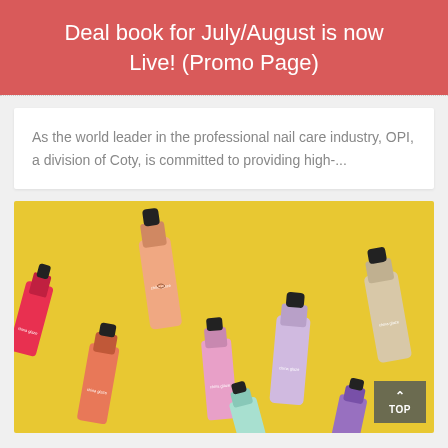Deal book for July/August is now Live! (Promo Page)
As the world leader in the professional nail care industry, OPI, a division of Coty, is committed to providing high-...
[Figure (photo): Multiple China Glaze nail polish bottles in various pastel and bright colors arranged on a yellow background]